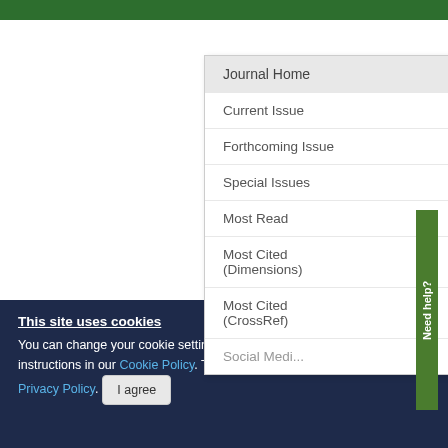Journal Home
Current Issue
Forthcoming Issue
Special Issues
Most Read
Most Cited (Dimensions)
Most Cited (CrossRef)
Social Media
Effect param of ran
Authors
Wan
View All
Published
Need help?
This site uses cookies
You can change your cookie settings at any time by following the instructions in our Cookie Policy. To find out more, you may read our Privacy Policy.
I agree